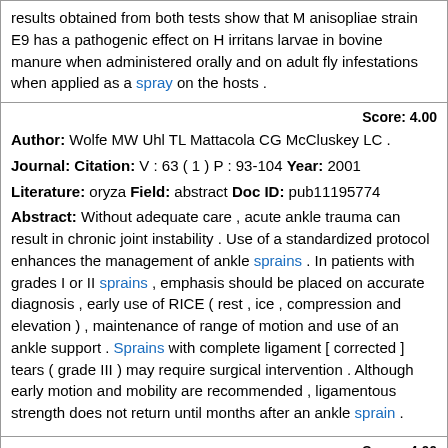results obtained from both tests show that M anisopliae strain E9 has a pathogenic effect on H irritans larvae in bovine manure when administered orally and on adult fly infestations when applied as a spray on the hosts .
Score: 4.00
Author: Wolfe MW Uhl TL Mattacola CG McCluskey LC .
Journal: Citation: V : 63 ( 1 ) P : 93-104 Year: 2001
Literature: oryza Field: abstract Doc ID: pub11195774
Abstract: Without adequate care , acute ankle trauma can result in chronic joint instability . Use of a standardized protocol enhances the management of ankle sprains . In patients with grades I or II sprains , emphasis should be placed on accurate diagnosis , early use of RICE ( rest , ice , compression and elevation ) , maintenance of range of motion and use of an ankle support . Sprains with complete ligament [ corrected ] tears ( grade III ) may require surgical intervention . Although early motion and mobility are recommended , ligamentous strength does not return until months after an ankle sprain .
Score: 4.00
Author: He F Chen S Tang X Gan W Tao B Wen B
Journal: Toxicol . Lett . Citation: V : 134 ( 1-3 ) P : 119-24 Year: 2002
Literature: oryza Field: abstract Doc ID: pub12191869
Abstract: A total of 132 farmers were selected from two areas ( J and S ) for this study . In area J , the subgroups Ja ( 40 subjects ) and Jb ( 36 subjects ) sprayed on rice crops either the organophosphate ( OP ) insecticide methamidophos or the mixture methamidophos-deltamethrin (